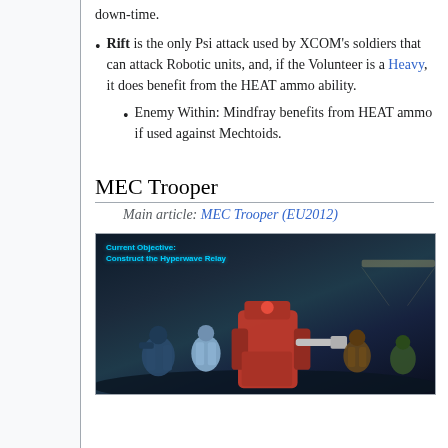down-time.
Rift is the only Psi attack used by XCOM's soldiers that can attack Robotic units, and, if the Volunteer is a Heavy, it does benefit from the HEAT ammo ability.
Enemy Within: Mindfray benefits from HEAT ammo if used against Mechtoids.
MEC Trooper
Main article: MEC Trooper (EU2012)
[Figure (screenshot): In-game screenshot showing MEC Troopers and soldiers in armor, with HUD overlay showing 'Current Objective: Construct the Hyperwave Relay']